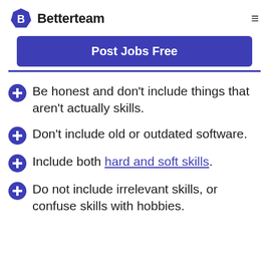Betterteam
Post Jobs Free
Be honest and don't include things that aren't actually skills.
Don't include old or outdated software.
Include both hard and soft skills.
Do not include irrelevant skills, or confuse skills with hobbies.